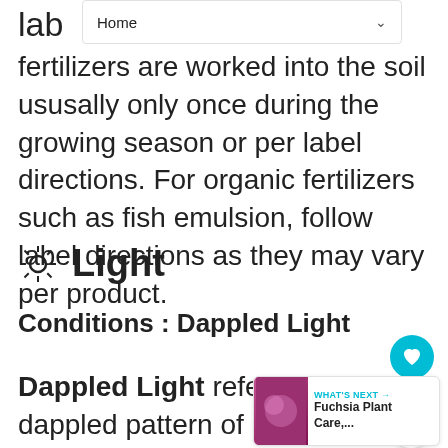Home
lab fertilizers are worked into the soil ususally only once during the growing season or per label directions. For organic fertilizers such as fish emulsion, follow label directions as they may vary per product.
☀ Light
Conditions : Dappled Light
Dappled Light refers to a dappled pattern of light created on the ground, as cast by light passing through high tree branches. This is the middle ground, not considered... but not sunny either. Dappled remains